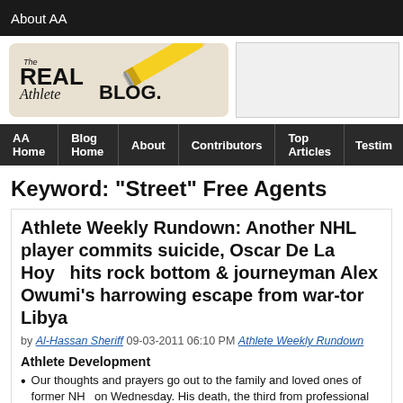About AA
[Figure (logo): The Real Athlete Blog logo with pencil graphic]
AA Home | Blog Home | About | Contributors | Top Articles | Testim...
Keyword: "Street" Free Agents
Athlete Weekly Rundown: Another NHL player commits suicide, Oscar De La Hoya hits rock bottom & journeyman Alex Owumi's harrowing escape from war-torn Libya
by Al-Hassan Sheriff 09-03-2011 06:10 PM Athlete Weekly Rundown
Athlete Development
Our thoughts and prayers go out to the family and loved ones of former NH... on Wednesday. His death, the third from professional hockey since May, h...